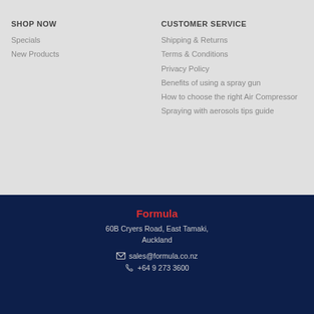SHOP NOW
Specials
New Products
CUSTOMER SERVICE
Shipping & Returns
Terms & Conditions
Privacy Policy
Benefits of using a spray gun
How to choose the right Air Compressor
Spraying with aerosols tips guide
Formula
60B Cryers Road, East Tamaki, Auckland
sales@formula.co.nz
+64 9 273 3600